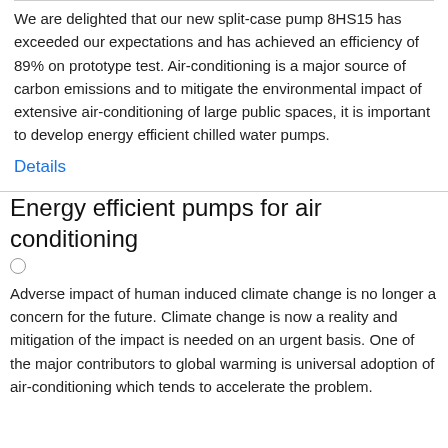We are delighted that our new split-case pump 8HS15 has exceeded our expectations and has achieved an efficiency of 89% on prototype test. Air-conditioning is a major source of carbon emissions and to mitigate the environmental impact of extensive air-conditioning of large public spaces, it is important to develop energy efficient chilled water pumps.
Details
Energy efficient pumps for air conditioning
Adverse impact of human induced climate change is no longer a concern for the future. Climate change is now a reality and mitigation of the impact is needed on an urgent basis. One of the major contributors to global warming is universal adoption of air-conditioning which tends to accelerate the problem.